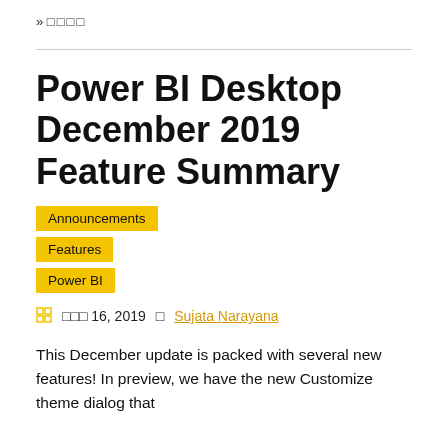» □□□□
Power BI Desktop December 2019 Feature Summary
Announcements
Features
Power BI
□□□ 16, 2019 □ Sujata Narayana
This December update is packed with several new features! In preview, we have the new Customize theme dialog that